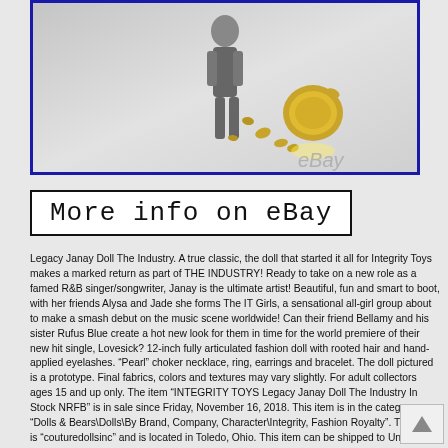[Figure (photo): eBay product photo showing a fashion doll figure with scattered gold coins/keys on a white background, with 'eBay' watermark text]
More info on eBay
Legacy Janay Doll The Industry. A true classic, the doll that started it all for Integrity Toys makes a marked return as part of THE INDUSTRY! Ready to take on a new role as a famed R&B singer/songwriter, Janay is the ultimate artist! Beautiful, fun and smart to boot, with her friends Alysa and Jade she forms The IT Girls, a sensational all-girl group about to make a smash debut on the music scene worldwide! Can their friend Bellamy and his sister Rufus Blue create a hot new look for them in time for the world premiere of their new hit single, Lovesick? 12-inch fully articulated fashion doll with rooted hair and hand-applied eyelashes. “Pearl” choker necklace, ring, earrings and bracelet. The doll pictured is a prototype. Final fabrics, colors and textures may vary slightly. For adult collectors ages 15 and up only. The item “INTEGRITY TOYS Legacy Janay Doll The Industry In Stock NRFB” is in sale since Friday, November 16, 2018. This item is in the category “Dolls & Bears\Dolls\By Brand, Company, Character\Integrity, Fashion Royalty”. The seller is “couturedollsinc” and is located in Toledo, Ohio. This item can be shipped to United States, Canada, United Kingdom, Denmark, Finland, Australia, Greece, Portugal, Japan, China, Sweden, South Korea, Taiwan, Thailand, Belgium, France, Hong Kong, Ireland, Netherlands, Spain, Italy, Germany, Austria, Mexico, New Zealand, Singapore, Switzerland, Norway, Malaysia.